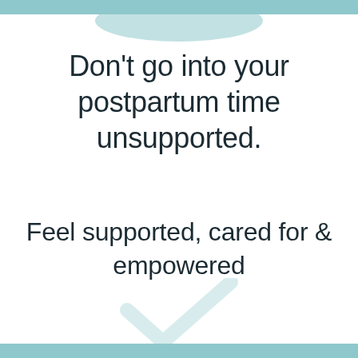[Figure (illustration): Teal rounded rectangle / pill shape at top center of page]
Don’t go into your postpartum time unsupported.
Feel supported, cared for & empowered
[Figure (illustration): Light teal checkmark / tick mark at bottom center of page]
[Figure (illustration): Teal horizontal bar at top edge of page]
[Figure (illustration): Teal horizontal bar at bottom edge of page]